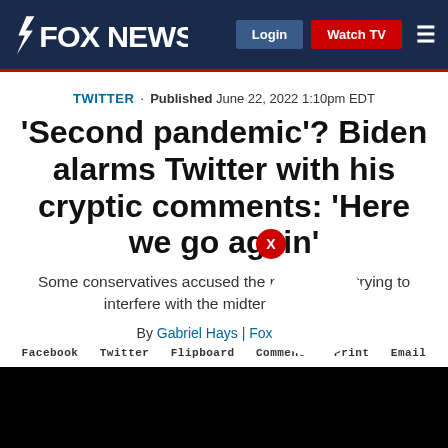FOX NEWS | Login | Watch TV
TWITTER . Published June 22, 2022 1:10pm EDT
'Second pandemic'? Biden alarms Twitter with his cryptic comments: 'Here we go again'
Some conservatives accused the president of trying to interfere with the midterm elections
By Gabriel Hays | Fox News
Facebook Twitter Flipboard Comments Print Email
[Figure (photo): Black video player area at the bottom of the article page]